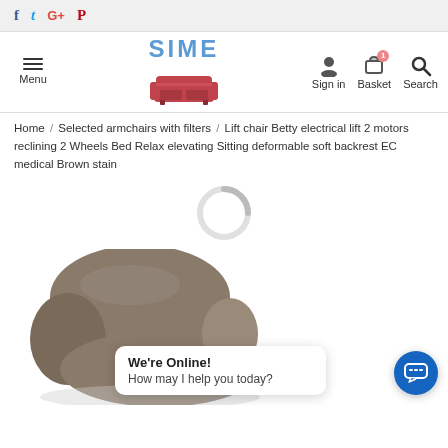f  t  G+  P
[Figure (logo): SIME furniture store logo with red sofa icon, hamburger menu, sign in, basket, and search navigation icons]
Home / Selected armchairs with filters / Lift chair Betty electrical lift 2 motors reclining 2 Wheels Bed Relax elevating Sitting deformable soft backrest EC medical Brown stain
[Figure (other): Loading spinner (circular progress indicator)]
[Figure (photo): Partial photo of a brown/taupe upholstered recliner lift chair]
We're Online!
How may I help you today?